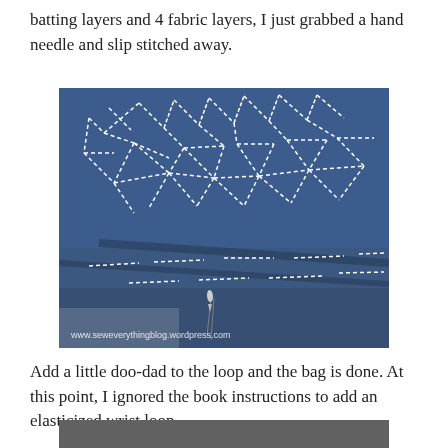batting layers and 4 fabric layers, I just grabbed a hand needle and slip stitched away.
[Figure (photo): Close-up photo of blue fabric with white hand stitching (sashiko-style running stitch pattern forming geometric shapes), folded fabric with needle and thread visible. Watermark: www.seweverythingblog.wordpress.com]
Add a little doo-dad to the loop and the bag is done. At this point, I ignored the book instructions to add an elasticized wrist loop.
[Figure (photo): Partial photo at bottom of page showing a dark/grey surface, cropped.]